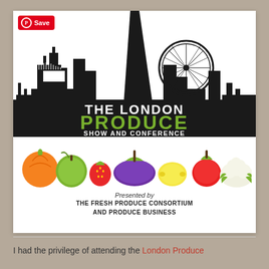[Figure (logo): The London Produce Show and Conference logo with London skyline silhouette including Tower Bridge, The Shard, and London Eye, with colorful fruit and vegetables below. Pinterest Save button overlay in top-left.]
Presented by
THE FRESH PRODUCE CONSORTIUM
AND PRODUCE BUSINESS
I had the privilege of attending the London Produce